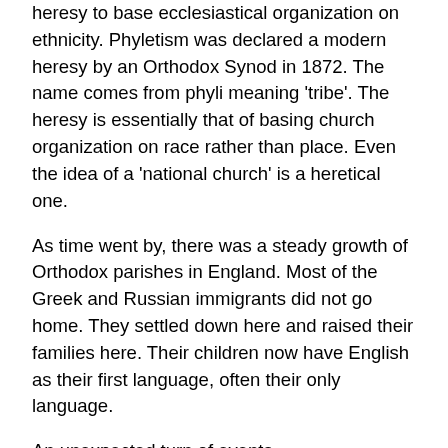heresy to base ecclesiastical organization on ethnicity. Phyletism was declared a modern heresy by an Orthodox Synod in 1872. The name comes from phyli meaning 'tribe'. The heresy is essentially that of basing church organization on race rather than place. Even the idea of a 'national church' is a heretical one.
As time went by, there was a steady growth of Orthodox parishes in England. Most of the Greek and Russian immigrants did not go home. They settled down here and raised their families here. Their children now have English as their first language, often their only language.
An unexpected turn of events
During the twentieth century, a steadily growing flow of Englishmen and women discovered the Orthodox Church in their midst, found the Orthodox Faith answered their needs and sought to join the Orthodox Church. Today there are many native English priests and the Liturgy is served in English in more and more parishes every year